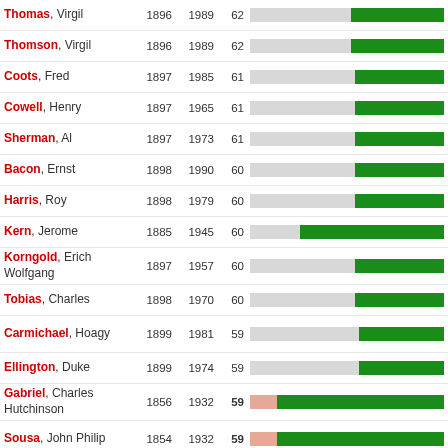| Name | Born | Died | Age | Bar |
| --- | --- | --- | --- | --- |
| Thomas, Virgil | 1896 | 1989 | 62 |  |
| Thomson, Virgil | 1896 | 1989 | 62 |  |
| Coots, Fred | 1897 | 1985 | 61 |  |
| Cowell, Henry | 1897 | 1965 | 61 |  |
| Sherman, Al | 1897 | 1973 | 61 |  |
| Bacon, Ernst | 1898 | 1990 | 60 |  |
| Harris, Roy | 1898 | 1979 | 60 |  |
| Kern, Jerome | 1885 | 1945 | 60 |  |
| Korngold, Erich Wolfgang | 1897 | 1957 | 60 |  |
| Tobias, Charles | 1898 | 1970 | 60 |  |
| Carmichael, Hoagy | 1899 | 1981 | 59 |  |
| Ellington, Duke | 1899 | 1974 | 59 |  |
| Gabriel, Charles Hutchinson | 1856 | 1932 | 59 |  |
| Sousa, John Philip | 1854 | 1932 | 59 |  |
| Thompson, Randall | 1899 | 1984 | 59 |  |
| Austin, Gene | 1900 | 1972 | 58 |  |